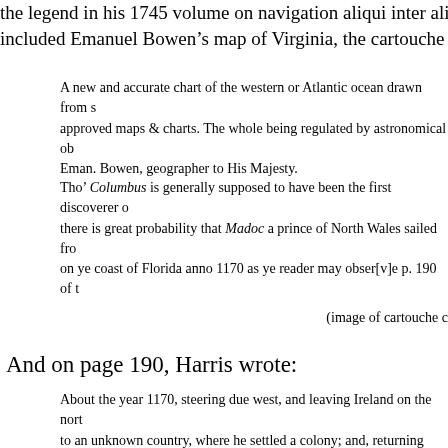the legend in his 1745 volume on navigation aliqui inter alia... included Emanuel Bowen’s map of Virginia, the cartouche of w
A new and accurate chart of the western or Atlantic ocean drawn from s approved maps & charts. The whole being regulated by astronomical ob Eman. Bowen, geographer to His Majesty.
Tho’ Columbus is generally supposed to have been the first discoverer o there is great probability that Madoc a prince of North Wales sailed fro on ye coast of Florida anno 1170 as ye reader may obser[v]e p. 190 of t
(image of cartouche c
And on page 190, Harris wrote:
About the year 1170, steering due west, and leaving Ireland on the nort to an unknown country, where he settled a colony; and, returning thenc a second supply of people, but was never heard of more.
That the country he went to was really America, is more, I think, than c proved; but that this tale was invented after the discovery of that countr up a prior title, is most certainly false. Meredith ap Rees, who died in 1 famous Welsh poet, composed an ode in honor of this Madoc, wherein